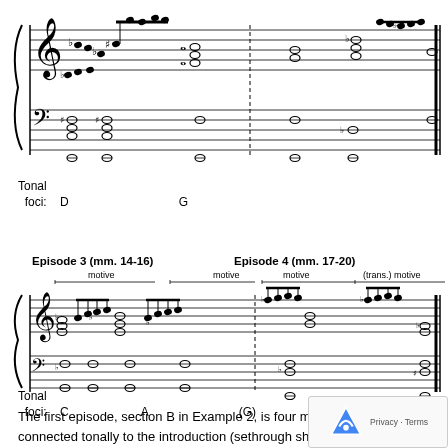[Figure (illustration): Musical score showing Episodes 1-2 with treble and bass clefs, tonal foci labels D and G]
Tonal
  foci:   D                        G
Episode 3 (mm. 14-16)
Episode 4 (mm. 17-20)
[Figure (illustration): Musical score showing Episodes 3-4 with motive brackets, treble and bass clefs, with 'motive', '(trans.) motive' labels]
Tonal
  foci:   C                A                    (G)
The first episode, section B in Example 2, is four measu length and is connected tonally to the introduction (se through shared focus on the pitch D. The monoph